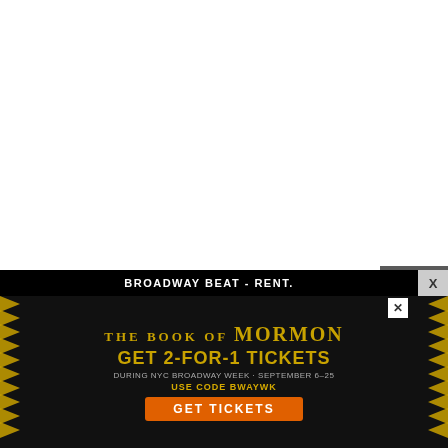[Figure (illustration): Album art for 'Cry Neon' by Nox Holloway — purple/magenta neon cityscape with tall buildings and glowing light beams, text 'CRY NEON' in red/pink at top]
Nashville based pop/alt band, Nox Holloway has shared their brand new single, "Cry Neon." "Cry Neon" was co-written by Nox Holloway and
[Figure (infographic): Share sidebar with Twitter and Facebook icons on dark grey background]
BROADWAY BEAT - RENT.
[Figure (other): Advertisement for 'The Book of Mormon' - GET 2-FOR-1 TICKETS DURING NYC BROADWAY WEEK • SEPTEMBER 6-25 USE CODE BWAYWK GET TICKETS]